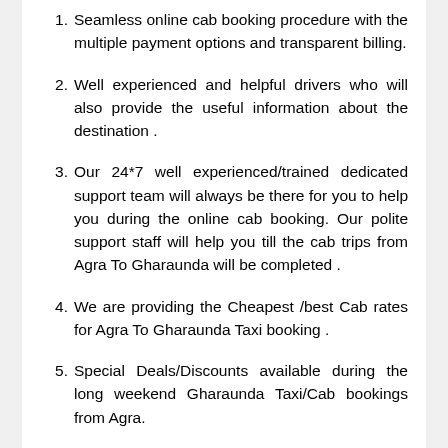Seamless online cab booking procedure with the multiple payment options and transparent billing.
Well experienced and helpful drivers who will also provide the useful information about the destination .
Our 24*7 well experienced/trained dedicated support team will always be there for you to help you during the online cab booking. Our polite support staff will help you till the cab trips from Agra To Gharaunda will be completed .
We are providing the Cheapest /best Cab rates for Agra To Gharaunda Taxi booking .
Special Deals/Discounts available during the long weekend Gharaunda Taxi/Cab bookings from Agra.
Cheapest taxi prices available in Agra...